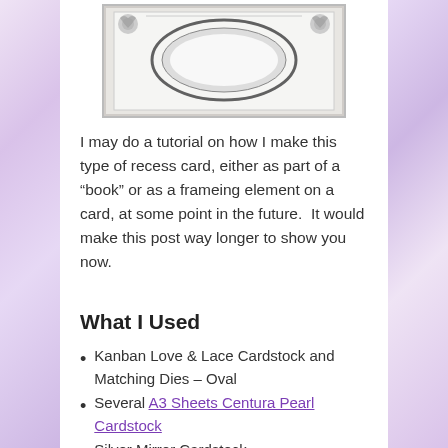[Figure (photo): A decorative recess card with oval frame and floral/rose corner embellishments on a white background]
I may do a tutorial on how I make this type of recess card, either as part of a “book” or as a frameing element on a card, at some point in the future.  It would make this post way longer to show you now.
What I Used
Kanban Love & Lace Cardstock and Matching Dies – Oval
Several A3 Sheets Centura Pearl Cardstock
Silver Mirror Cardstock
Parchment/Vellum Paper